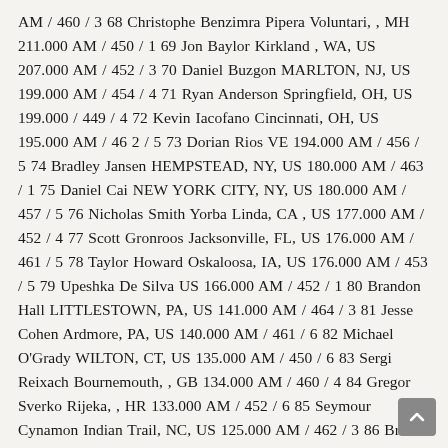AM / 460 / 3 68 Christophe Benzimra Pipera Voluntari, , MH 211.000 AM / 450 / 1 69 Jon Baylor Kirkland, WA, US 207.000 AM / 452 / 3 70 Daniel Buzgon MARLTON, NJ, US 199.000 AM / 454 / 4 71 Ryan Anderson Springfield, OH, US 199.000 / 449 / 4 72 Kevin Iacofano Cincinnati, OH, US 195.000 AM / 46 2 / 5 73 Dorian Rios VE 194.000 AM / 456 / 5 74 Bradley Jansen HEMPSTEAD, NY, US 180.000 AM / 463 / 1 75 Daniel Cai NEW YORK CITY, NY, US 180.000 AM / 457 / 5 76 Nicholas Smith Yorba Linda, CA , US 177.000 AM / 452 / 4 77 Scott Gronroos Jacksonville, FL, US 176.000 AM / 461 / 5 78 Taylor Howard Oskaloosa, IA, US 176.000 AM / 453 / 5 79 Upeshka De Silva US 166.000 AM / 452 / 1 80 Brandon Hall LITTLESTOWN, PA, US 141.000 AM / 464 / 3 81 Jesse Cohen Ardmore, PA, US 140.000 AM / 461 / 6 82 Michael O'Grady WILTON, CT, US 135.000 AM / 450 / 6 83 Sergi Reixach Bournemouth, , GB 134.000 AM / 460 / 4 84 Gregor Sverko Rijeka, , HR 133.000 AM / 452 / 6 85 Seymour Cynamon Indian Trail, NC, US 125.000 AM / 462 / 3 86 Brett Bader Jericho, NY, US 120.000 / 456 / 2 87 Pavlo Veksler Kiev , , UA 113.000 AM / 462 / 2 88 Evan Bethyo BUFFALO GROVE, IL, US 104.000 AM / 464 / 1 89 Viet Vo PEARLAND, TX, US 103.000 AM / 453 / 6 90 Matija Debris HR 101.000 AM / 462 /